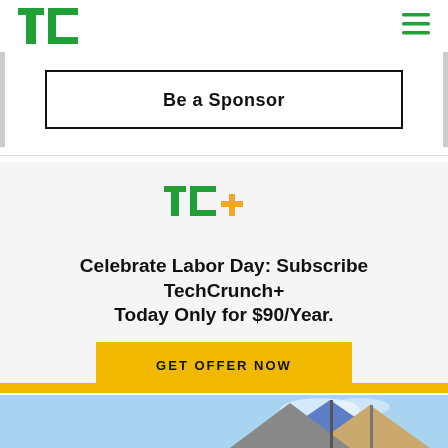[Figure (logo): TechCrunch TC logo in green]
[Figure (other): Hamburger menu icon in green]
Be a Sponsor
[Figure (logo): TC+ logo with green TC and yellow plus sign]
Celebrate Labor Day: Subscribe TechCrunch+ Today Only for $90/Year.
GET OFFER NOW
[Figure (photo): Photo of colorful beach umbrellas against blue sky]